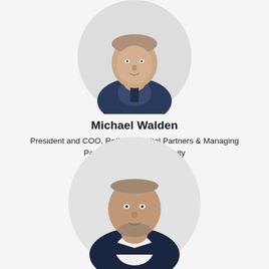[Figure (photo): Circular headshot of Michael Walden, a man in a dark navy zip-up sweater over a patterned shirt, photographed against a white background.]
Michael Walden
President and COO, Rethink Capital Partners & Managing Partner, Rethink Community
[Figure (infographic): LinkedIn and Twitter social media icons in grey.]
[Figure (photo): Circular headshot of a second person, an older man with grey-brown hair and beard wearing a dark suit jacket over a white shirt, photographed against a white background.]